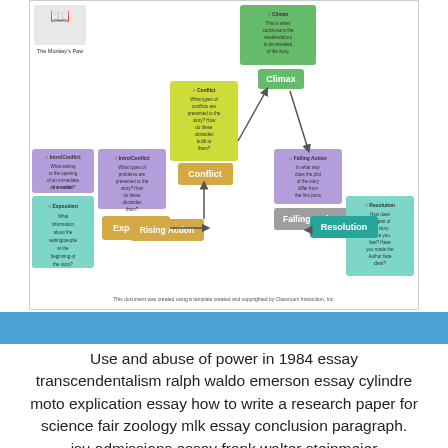[Figure (flowchart): Story structure flowchart showing Exposition, Rising Action, Conflict, Climax, Falling Action, Resolution with colored boxes and guiding questions for The Monkey's Paw]
Use and abuse of power in 1984 essay transcendentalism ralph waldo emerson essay cylindre moto explication essay how to write a research paper for science fair zoology mlk essay conclusion paragraph. isu admissions essay frank walter steinmeier dissertation defense.,